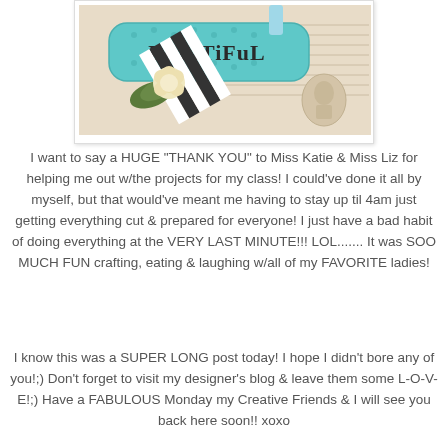[Figure (photo): Craft photo showing a decorative banner/sign with turquoise background reading 'Beautiful', decorated with a black and white striped ribbon and a cream flower with green leaf, on a vintage patterned background.]
I want to say a HUGE "THANK YOU" to Miss Katie & Miss Liz for helping me out w/the projects for my class! I could've done it all by myself, but that would've meant me having to stay up til 4am just getting everything cut & prepared for everyone! I just have a bad habit of doing everything at the VERY LAST MINUTE!!! LOL....... It was SOO MUCH FUN crafting, eating & laughing w/all of my FAVORITE ladies!
I know this was a SUPER LONG post today! I hope I didn't bore any of you!;) Don't forget to visit my designer's blog & leave them some L-O-V-E!;) Have a FABULOUS Monday my Creative Friends & I will see you back here soon!! xoxo